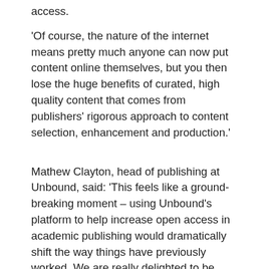access.
'Of course, the nature of the internet means pretty much anyone can now put content online themselves, but you then lose the huge benefits of curated, high quality content that comes from publishers' rigorous approach to content selection, enhancement and production.'
Mathew Clayton, head of publishing at Unbound, said: 'This feels like a ground-breaking moment – using Unbound's platform to help increase open access in academic publishing would dramatically shift the way things have previously worked. We are really delighted to be partnering with Cambridge University Press in this bold experiment.
The book argues that the roots of Scottish nationalism lie in the decades after the 1960s and not in the distant past of the Acts of Union or the Scottish Enlightenment. It offers a fresh, original and up to date examination of the politics of Scottish nationalism, written in a readable